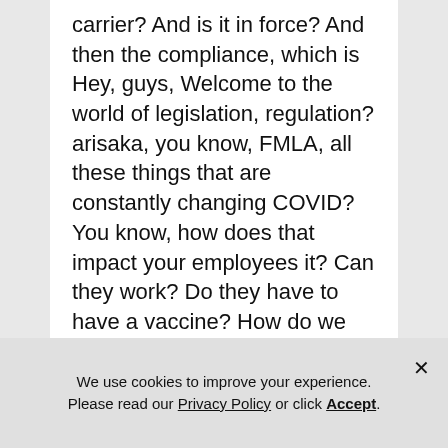carrier? And is it in force? And then the compliance, which is Hey, guys, Welcome to the world of legislation, regulation? arisaka, you know, FMLA, all these things that are constantly changing COVID? You know, how does that impact your employees it? Can they work? Do they have to have a vaccine? How do we talk about whether people have had vaccines? I mean, you have
Kevin McCarthy: 18:44
We use cookies to improve your experience. Please read our Privacy Policy or click Accept.